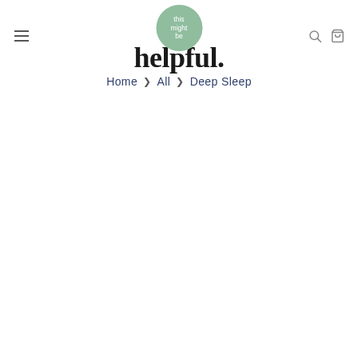this might be helpful. — site header with hamburger menu, logo, search and cart icons
Home > All > Deep Sleep